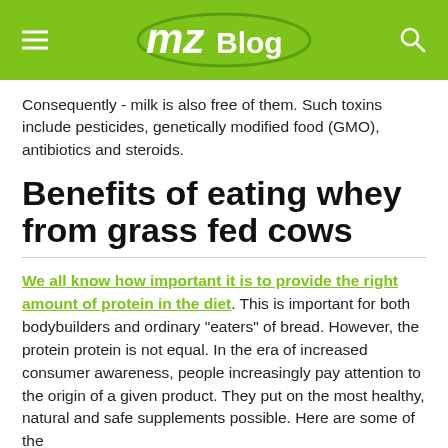mzBlog
Consequently - milk is also free of them. Such toxins include pesticides, genetically modified food (GMO), antibiotics and steroids.
Benefits of eating whey from grass fed cows
We all know how important it is to provide the right amount of protein in the diet. This is important for both bodybuilders and ordinary "eaters" of bread. However, the protein protein is not equal. In the era of increased consumer awareness, people increasingly pay attention to the origin of a given product. They put on the most healthy, natural and safe supplements possible. Here are some of the